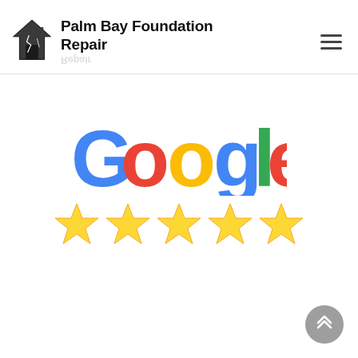Palm Bay Foundation Repair
[Figure (logo): Google logo with five yellow stars underneath representing a 5-star Google rating]
[Figure (other): Scroll-to-top button in grey circle with upward chevron arrows]